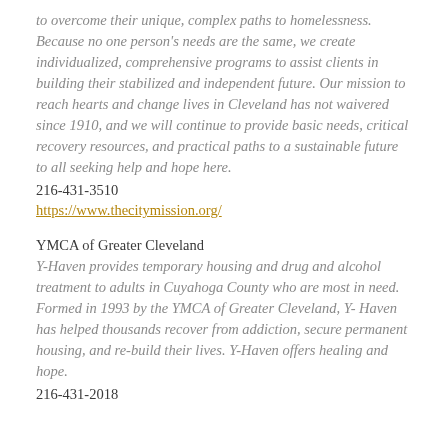to overcome their unique, complex paths to homelessness. Because no one person's needs are the same, we create individualized, comprehensive programs to assist clients in building their stabilized and independent future. Our mission to reach hearts and change lives in Cleveland has not waivered since 1910, and we will continue to provide basic needs, critical recovery resources, and practical paths to a sustainable future to all seeking help and hope here.
216-431-3510
https://www.thecitymission.org/
YMCA of Greater Cleveland
Y-Haven provides temporary housing and drug and alcohol treatment to adults in Cuyahoga County who are most in need. Formed in 1993 by the YMCA of Greater Cleveland, Y-Haven has helped thousands recover from addiction, secure permanent housing, and re-build their lives. Y-Haven offers healing and hope.
216-431-2018